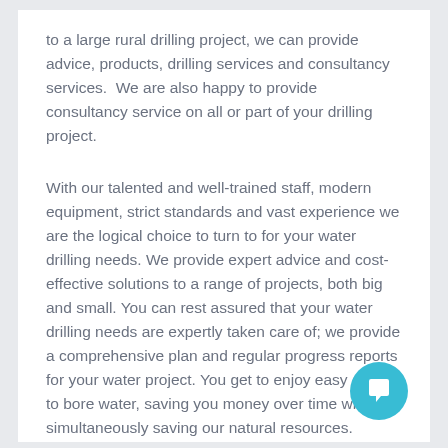to a large rural drilling project, we can provide advice, products, drilling services and consultancy services.  We are also happy to provide consultancy service on all or part of your drilling project.
With our talented and well-trained staff, modern equipment, strict standards and vast experience we are the logical choice to turn to for your water drilling needs. We provide expert advice and cost-effective solutions to a range of projects, both big and small. You can rest assured that your water drilling needs are expertly taken care of; we provide a comprehensive plan and regular progress reports for your water project. You get to enjoy easy access to bore water, saving you money over time while simultaneously saving our natural resources.